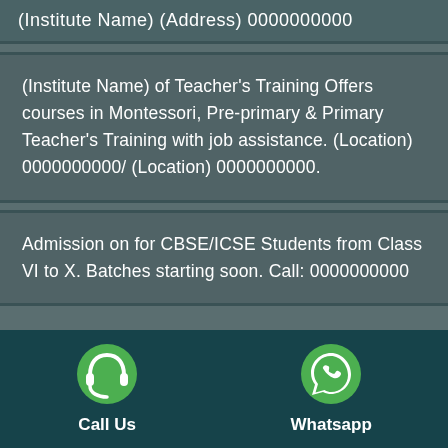(Institute Name) (Address) 0000000000
(Institute Name) of Teacher's Training Offers courses in Montessori, Pre-primary & Primary Teacher's Training with job assistance. (Location) 0000000000/ (Location) 0000000000.
Admission on for CBSE/ICSE Students from Class VI to X. Batches starting soon. Call: 0000000000
[Figure (infographic): Footer bar with two icons: a headphone icon labeled 'Call Us' and a WhatsApp icon labeled 'Whatsapp', on a dark teal background.]